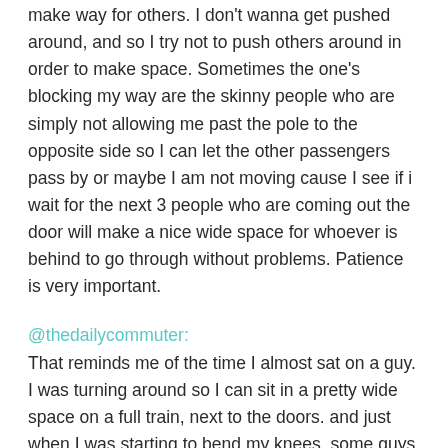make way for others. I don't wanna get pushed around, and so I try not to push others around in order to make space. Sometimes the one's blocking my way are the skinny people who are simply not allowing me past the pole to the opposite side so I can let the other passengers pass by or maybe I am not moving cause I see if i wait for the next 3 people who are coming out the door will make a nice wide space for whoever is behind to go through without problems. Patience is very important.
@thedailycommuter:
That reminds me of the time I almost sat on a guy. I was turning around so I can sit in a pretty wide space on a full train, next to the doors. and just when I was starting to bend my knees, some guys comes out of left field, sneaks in through the gap of me the chair and the next guy and sits down.